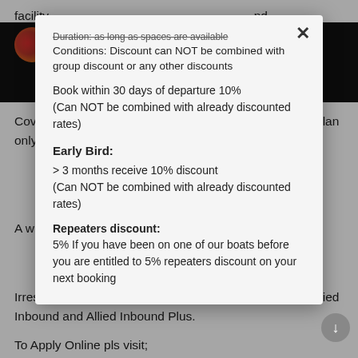facility ... and intermediate ... for Covid-19 of a tourist during their stay in Maldives. This plan only include...
A will... count... d Insurance ... available ... e Maldives...
Irrespective ... not h... plan. The plan comes in two options; Allied Inbound and Allied Inbound Plus.
To Apply Online pls visit;
Duration: as long as spaces are available
Conditions: Discount can NOT be combined with group discount or any other discounts
Book within 30 days of departure 10%
(Can NOT be combined with already discounted rates)

Early Bird:

> 3 months receive 10% discount
(Can NOT be combined with already discounted rates)

Repeaters discount:
5% If you have been on one of our boats before you are entitled to 5% repeaters discount on your next booking